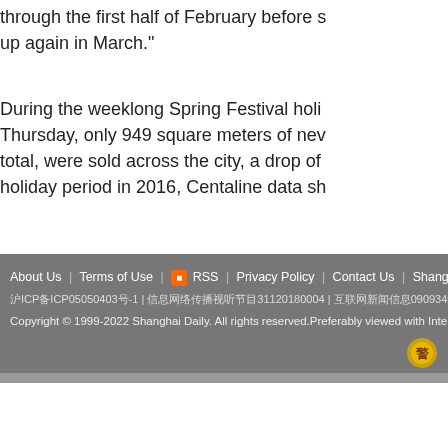through the first half of February before slowing up again in March."
During the weeklong Spring Festival holiday Thursday, only 949 square meters of new homes in total, were sold across the city, a drop of holiday period in 2016, Centaline data sh
Real Estate
[Figure (infographic): Social share buttons: Facebook, Twitter, LinkedIn, WeChat]
About Us | Terms of Use | RSS | Privacy Policy | Contact Us | Shanghai Call C
沪ICP备ICP050504030-1 | 信息网络传播视听节目31120180004 | 互联网新闻信息0909346 | 违法和不良信息35
Copyright © 1999-2022 Shanghai Daily. All rights reserved.Preferably viewed with Intern